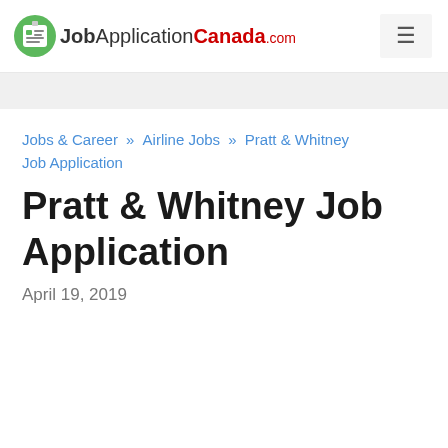JobApplicationCanada.com
Jobs & Career » Airline Jobs » Pratt & Whitney Job Application
Pratt & Whitney Job Application
April 19, 2019